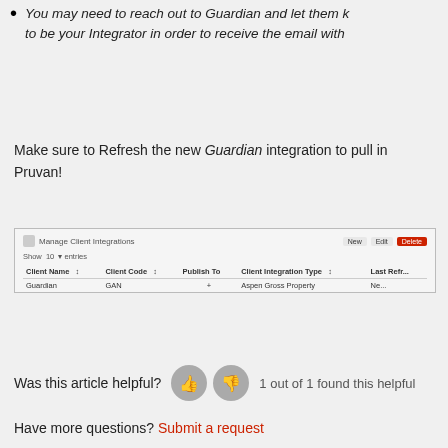You may need to reach out to Guardian and let them k... to be your Integrator in order to receive the email with...
Make sure to Refresh the new Guardian integration to pull in Pruvan!
[Figure (screenshot): Screenshot of Manage Client Integrations page showing Guardian entry with columns: Client Name, Client Code, Publish To, Client Integration Type, Last Refre...]
Was this article helpful?
1 out of 1 found this helpful
Have more questions? Submit a request